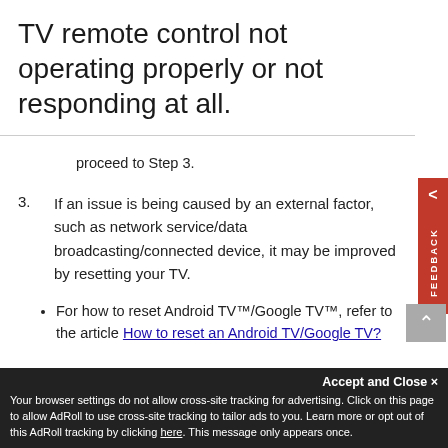TV remote control not operating properly or not responding at all.
proceed to Step 3.
3. If an issue is being caused by an external factor, such as network service/data broadcasting/connected device, it may be improved by resetting your TV.
For how to reset Android TV™/Google TV™, refer to the article How to reset an Android TV/Google TV?
For how to reset the other TV models, refer to the article How to perform a power reset on a Sony television.
Accept and Close ✕
Your browser settings do not allow cross-site tracking for advertising. Click on this page to allow AdRoll to use cross-site tracking to tailor ads to you. Learn more or opt out of this AdRoll tracking by clicking here. This message only appears once.